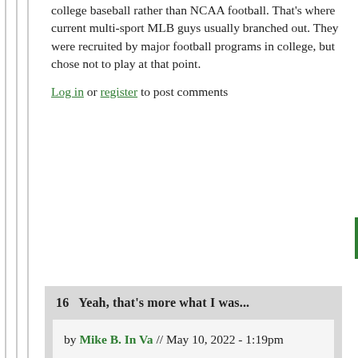college baseball rather than NCAA football. That's where current multi-sport MLB guys usually branched out. They were recruited by major football programs in college, but chose not to play at that point.
Log in or register to post comments
16  Yeah, that's more what I was...
by Mike B. In Va // May 10, 2022 - 1:19pm
Yeah, that's more what I was thinking, making decisions about college sports. Seems to me if you have that level of arm talent in both sports, baseball is probably the